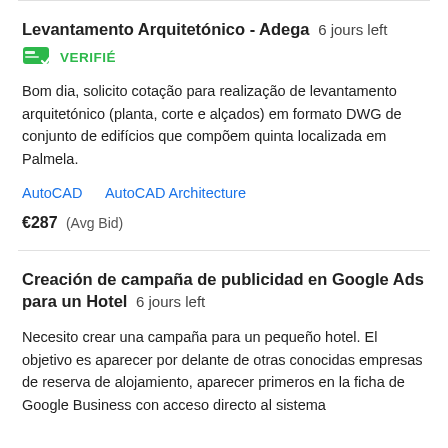Levantamento Arquitetónico - Adega  6 jours left
[Figure (other): Green verified payment badge icon with checkmark]
VERIFIÉ
Bom dia, solicito cotação para realização de levantamento arquitetónico (planta, corte e alçados) em formato DWG de conjunto de edifícios que compõem quinta localizada em Palmela.
AutoCAD   AutoCAD Architecture
€287  (Avg Bid)
Creación de campaña de publicidad en Google Ads para un Hotel  6 jours left
Necesito crear una campaña para un pequeño hotel. El objetivo es aparecer por delante de otras conocidas empresas de reserva de alojamiento, aparecer primeros en la ficha de Google Business con acceso directo al sistema de reservas propio del Hotel. El contrato consistirá...